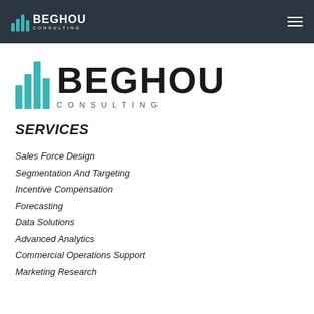BEGHOU CONSULTING
[Figure (logo): Beghou Consulting logo with teal bar chart icon and large bold text BEGHOU and spaced subtitle CONSULTING]
SERVICES
Sales Force Design
Segmentation And Targeting
Incentive Compensation
Forecasting
Data Solutions
Advanced Analytics
Commercial Operations Support
Marketing Research